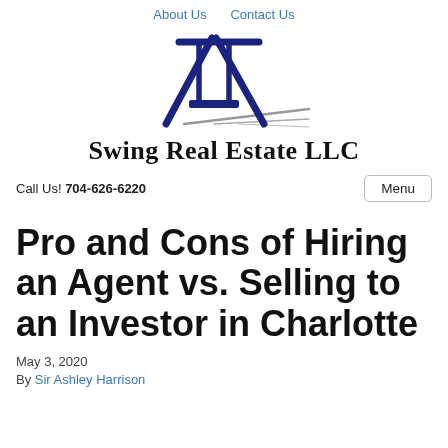About Us   Contact Us
[Figure (logo): Swing Real Estate LLC logo: dark navy blue A-frame swing set silhouette with gray shadow lines, above bold serif text 'Swing Real Estate LLC']
Call Us! 704-626-6220
Pro and Cons of Hiring an Agent vs. Selling to an Investor in Charlotte
May 3, 2020
By Sir Ashley Harrison